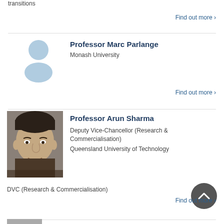transitions
Find out more >
[Figure (illustration): Placeholder avatar icon (light blue person silhouette) for Professor Marc Parlange]
Professor Marc Parlange
Monash University
Find out more >
[Figure (photo): Photo of Professor Arun Sharma, a man with dark hair, close-up portrait]
Professor Arun Sharma
Deputy Vice-Chancellor (Research & Commercialisation)
Queensland University of Technology
DVC (Research & Commercialisation)
Find out more >